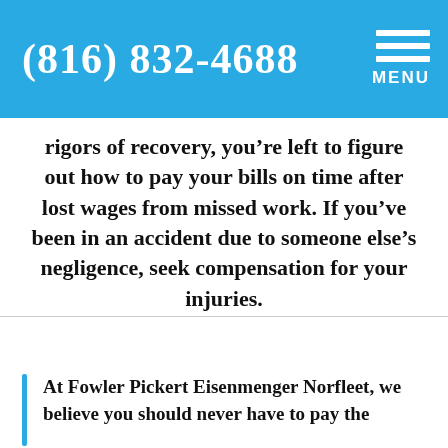(816) 832-4688  MENU
rigors of recovery, you’re left to figure out how to pay your bills on time after lost wages from missed work. If you’ve been in an accident due to someone else’s negligence, seek compensation for your injuries.
At Fowler Pickert Eisenmenger Norfleet, we believe you should never have to pay the